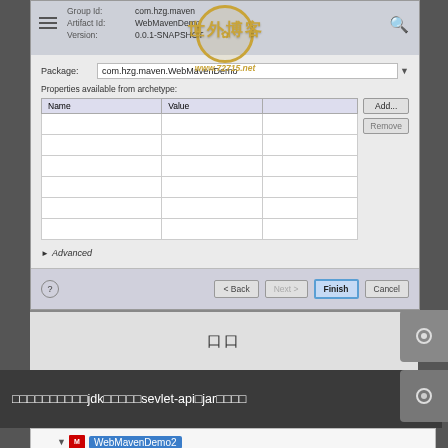[Figure (screenshot): Eclipse Maven project creation dialog showing Package field with value com.hzg.maven.WebMavenDemo, Properties available from archetype section with Name/Value table and Add/Remove buttons, Advanced section, and navigation buttons Back, Next, Finish, Cancel. Watermark overlay with www.72715.net]
□□
□□□□□□□□□□jdk□□□□□sevlet-api□jar□□□□
[Figure (screenshot): Eclipse project explorer showing WebMavenDemo2 project with src/main/resources and JRE System Library [J2SE-1.5]]